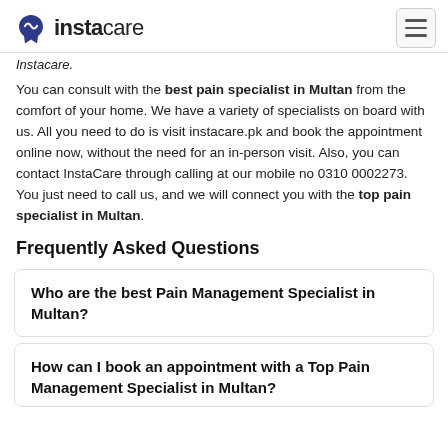instacare [logo]
Instacare.
You can consult with the best pain specialist in Multan from the comfort of your home. We have a variety of specialists on board with us. All you need to do is visit instacare.pk and book the appointment online now, without the need for an in-person visit. Also, you can contact InstaCare through calling at our mobile no 0310 0002273. You just need to call us, and we will connect you with the top pain specialist in Multan.
Frequently Asked Questions
Who are the best Pain Management Specialist in Multan?
How can I book an appointment with a Top Pain Management Specialist in Multan?